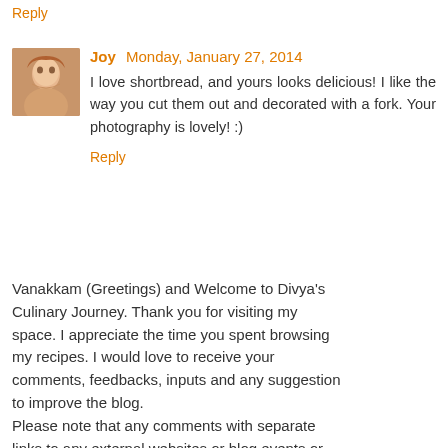Reply
Joy  Monday, January 27, 2014
I love shortbread, and yours looks delicious! I like the way you cut them out and decorated with a fork. Your photography is lovely! :)
Reply
Vanakkam (Greetings) and Welcome to Divya's Culinary Journey. Thank you for visiting my space. I appreciate the time you spent browsing my recipes. I would love to receive your comments, feedbacks, inputs and any suggestion to improve the blog.
Please note that any comments with separate links to any external websites or blog events or advertisements may not be published. Thanks for